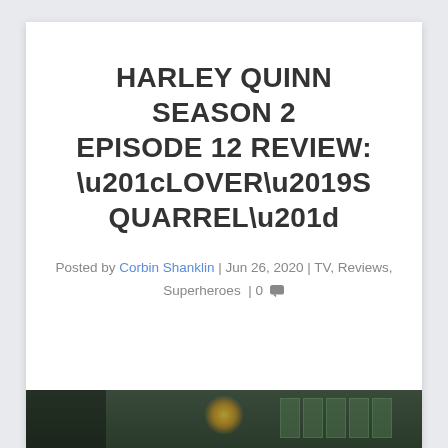HARLEY QUINN SEASON 2 EPISODE 12 REVIEW: “LOVER’S QUARREL”
Posted by Corbin Shanklin | Jun 26, 2020 | TV, Reviews, Superheroes | 0
[Figure (photo): Dark screenshot from Harley Quinn animated series showing a glowing figure against a green-tinted background with grid-like panels]